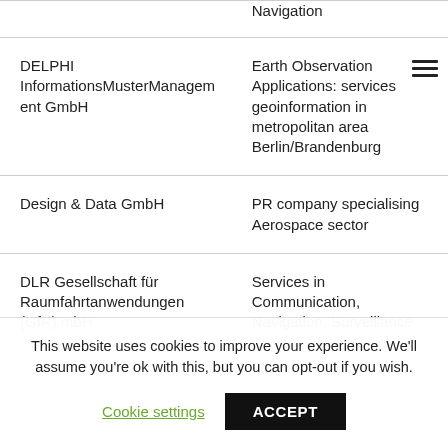| Company | Description |
| --- | --- |
| Navigation |  |
| DELPHI InformationsMusterManagement GmbH | Earth Observation Applications: services geoinformation in metropolitan area Berlin/Brandenburg |
| Design & Data GmbH | PR company specialising Aerospace sector |
| DLR Gesellschaft für Raumfahrtanwendungen (GfR) mbH | Services in Communication, Navigation, Surveillance |
This website uses cookies to improve your experience. We'll assume you're ok with this, but you can opt-out if you wish.
Cookie settings | ACCEPT